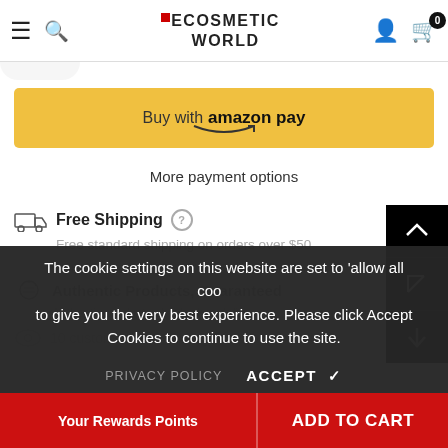ECOSMETIC WORLD
[Figure (screenshot): Amazon Pay button with gold/yellow background]
More payment options
Free Shipping ? Free standard shipping on orders over $50
Authentic Products, Guaranteed
10 customers are viewing this product
The cookie settings on this website are set to 'allow all cookies' to give you the very best experience. Please click Accept Cookies to continue to use the site.
PRIVACY POLICY    ACCEPT ✓
Your Rewards Points    ADD TO CART